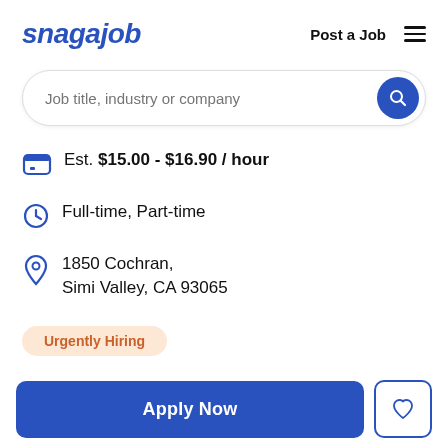snagajob | Post a Job
[Figure (screenshot): Search bar with placeholder text 'Job title, industry or company' and blue circular search button]
Est. $15.00 - $16.90 / hour
Full-time, Part-time
1850 Cochran, Simi Valley, CA 93065
Urgently Hiring
Apply Now